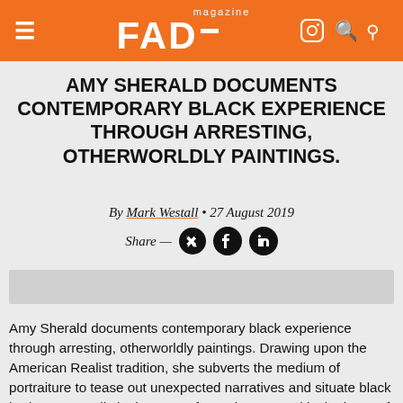FAD magazine
AMY SHERALD DOCUMENTS CONTEMPORARY BLACK EXPERIENCE THROUGH ARRESTING, OTHERWORLDLY PAINTINGS.
By Mark Westall • 27 August 2019
Share — (Twitter) (Facebook) (LinkedIn)
[Figure (photo): Gray image placeholder bar]
Amy Sherald documents contemporary black experience through arresting, otherworldly paintings. Drawing upon the American Realist tradition, she subverts the medium of portraiture to tease out unexpected narratives and situate black heritage centrally in the story of American art. With 'the heart of the matter…,' her inaugural exhibition with Hauser & Wirth, Sherald debuts a suite of